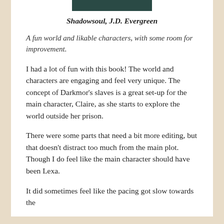[Figure (photo): Top portion of a book cover image, dark teal/green tones]
Shadowsoul, J.D. Evergreen
A fun world and likable characters, with some room for improvement.
I had a lot of fun with this book! The world and characters are engaging and feel very unique. The concept of Darkmor's slaves is a great set-up for the main character, Claire, as she starts to explore the world outside her prison.
There were some parts that need a bit more editing, but that doesn't distract too much from the main plot. Though I do feel like the main character should have been Lexa.
It did sometimes feel like the pacing got slow towards the